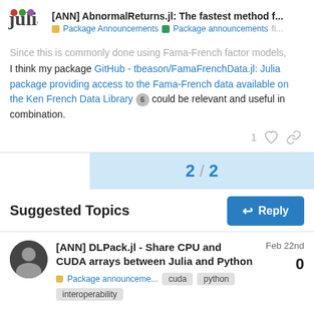[ANN] AbnormalReturns.jl: The fastest method f... | Package Announcements | Package announcements | fi...
Since this is commonly done using Fama-French factor models, I think my package GitHub - tbeason/FamaFrenchData.jl: Julia package providing access to the Fama-French data available on the Ken French Data Library 6 could be relevant and useful in combination.
2 / 2
Suggested Topics
[ANN] DLPack.jl - Share CPU and CUDA arrays between Julia and Python
Package announceme... cuda python interoperability Feb 22nd 0